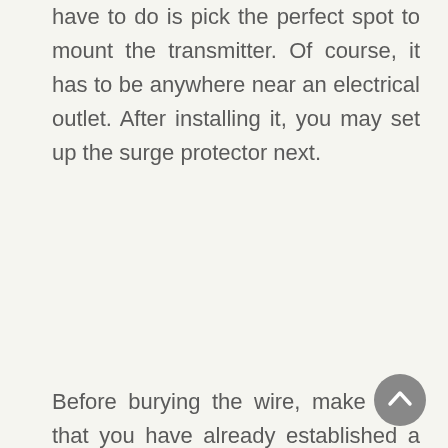have to do is pick the perfect spot to mount the transmitter. Of course, it has to be anywhere near an electrical outlet. After installing it, you may set up the surge protector next.
Before burying the wire, make sure that you have already established a perimeter in mind. This will make the whole process easier.